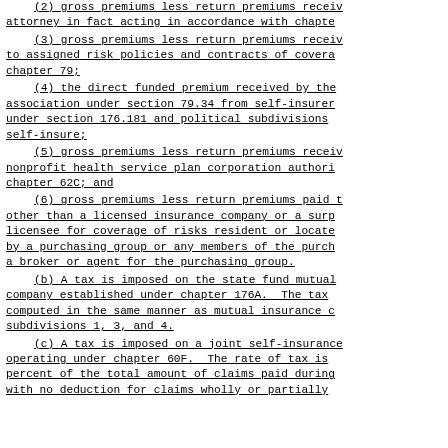(2) gross premiums less return premiums received by attorney in fact acting in accordance with chapter
(3) gross premiums less return premiums received to assigned risk policies and contracts of coverage chapter 79;
(4) the direct funded premium received by the association under section 79.34 from self-insurers under section 176.181 and political subdivisions self-insure;
(5) gross premiums less return premiums received nonprofit health service plan corporation authorized chapter 62C; and
(6) gross premiums less return premiums paid to other than a licensed insurance company or a surplus licensee for coverage of risks resident or located by a purchasing group or any members of the purchasing group or a broker or agent for the purchasing group.
(b) A tax is imposed on the state fund mutual company established under chapter 176A. The tax computed in the same manner as mutual insurance companies subdivisions 1, 3, and 4.
(c) A tax is imposed on a joint self-insurance operating under chapter 60F. The rate of tax is percent of the total amount of claims paid during with no deduction for claims wholly or partially